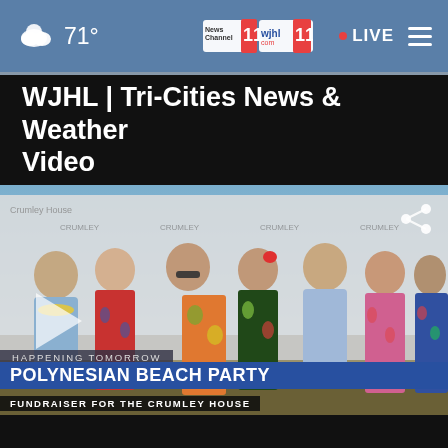71° News Channel 11 wjhl 11 LIVE
WJHL | Tri-Cities News & Weather Video
[Figure (photo): Group of seven people dressed in Hawaiian/tropical attire posing in front of a step-and-repeat banner for Crumley House. Lower thirds overlay reads 'HAPPENING TOMORROW / POLYNESIAN BEACH PARTY / FUNDRAISER FOR THE CRUMLEY HOUSE'. A translucent play button is visible on the left side of the image. A share icon appears on the upper right.]